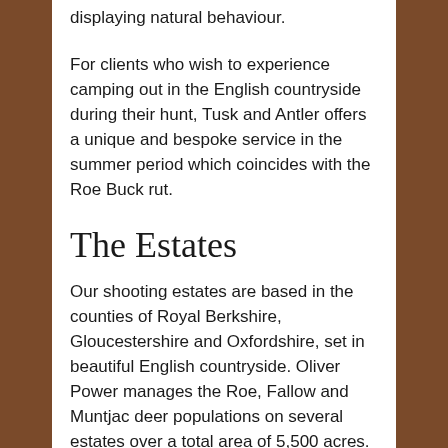displaying natural behaviour.
For clients who wish to experience camping out in the English countryside during their hunt, Tusk and Antler offers a unique and bespoke service in the summer period which coincides with the Roe Buck rut.
The Estates
Our shooting estates are based in the counties of Royal Berkshire, Gloucestershire and Oxfordshire, set in beautiful English countryside. Oliver Power manages the Roe, Fallow and Muntjac deer populations on several estates over a total area of 5,500 acres.
His main aim is to maintain and conserve a fit and